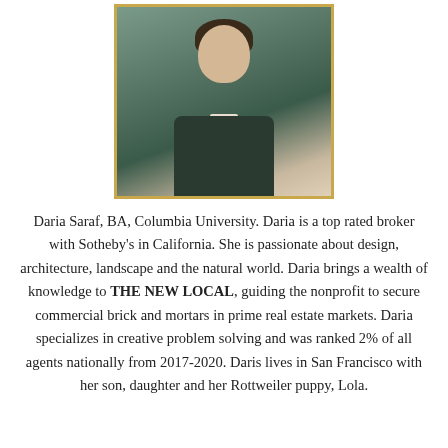[Figure (photo): Professional headshot of Daria Saraf, a woman wearing a dark blazer, with a gold border frame]
Daria Saraf, BA, Columbia University. Daria is a top rated broker with Sotheby's in California. She is passionate about design, architecture, landscape and the natural world. Daria brings a wealth of knowledge to THE NEW LOCAL, guiding the nonprofit to secure commercial brick and mortars in prime real estate markets. Daria specializes in creative problem solving and was ranked 2% of all agents nationally from 2017-2020. Daris lives in San Francisco with her son, daughter and her Rottweiler puppy, Lola.